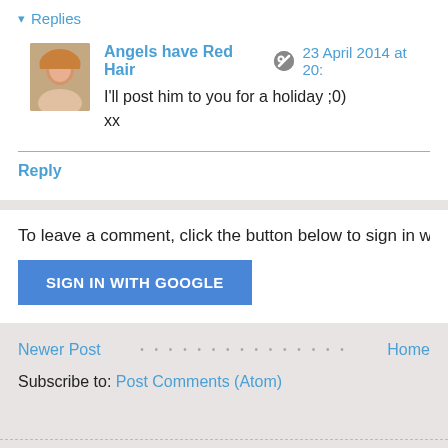▾ Replies
Angels have Red Hair  🔘  23 April 2014 at 20:
I'll post him to you for a holiday ;0)
xx
Reply
To leave a comment, click the button below to sign in w
SIGN IN WITH GOOGLE
Newer Post
Home
Subscribe to: Post Comments (Atom)